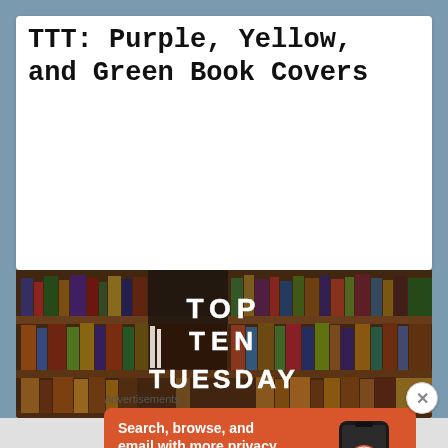TTT: Purple, Yellow, and Green Book Covers
[Figure (photo): Top Ten Tuesday banner image showing a bookshelf filled with books, with large text overlay reading TOP TEN TUESDAY]
Advertisements
[Figure (illustration): DuckDuckGo advertisement: Search, browse, and email with more privacy. All in One Free App. Shows DuckDuckGo logo on orange background with a smartphone.]